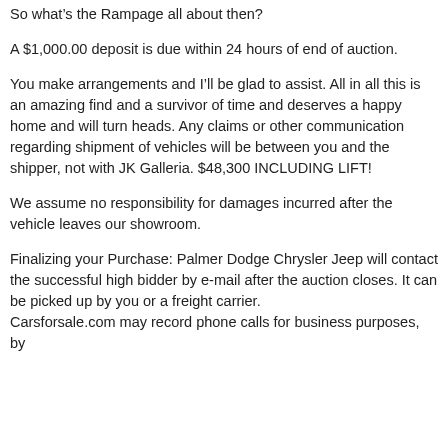So what’s the Rampage all about then?
A $1,000.00 deposit is due within 24 hours of end of auction.
You make arrangements and I’ll be glad to assist. All in all this is an amazing find and a survivor of time and deserves a happy home and will turn heads. Any claims or other communication regarding shipment of vehicles will be between you and the shipper, not with JK Galleria. $48,300 INCLUDING LIFT!
We assume no responsibility for damages incurred after the vehicle leaves our showroom.
Finalizing your Purchase: Palmer Dodge Chrysler Jeep will contact the successful high bidder by e-mail after the auction closes. It can be picked up by you or a freight carrier. Carsforsale.com may record phone calls for business purposes, by